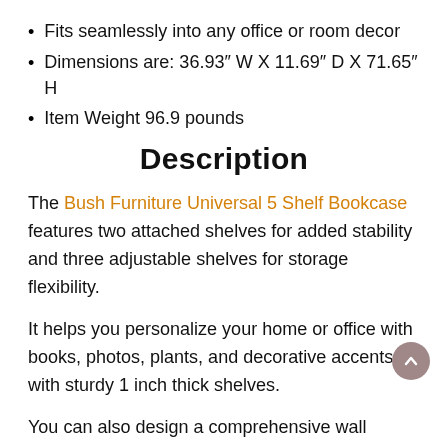Fits seamlessly into any office or room decor
Dimensions are: 36.93″ W X 11.69″ D X 71.65″ H
Item Weight 96.9 pounds
Description
The Bush Furniture Universal 5 Shelf Bookcase features two attached shelves for added stability and three adjustable shelves for storage flexibility.
It helps you personalize your home or office with books, photos, plants, and decorative accents with sturdy 1 inch thick shelves.
You can also design a comprehensive wall